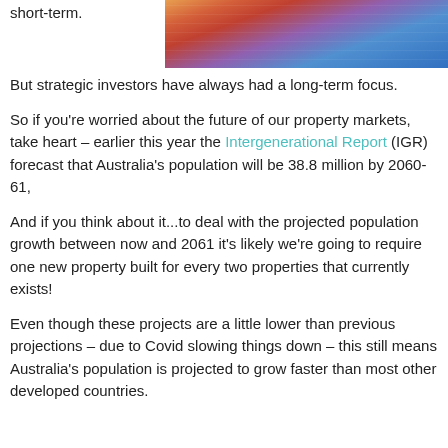short-term.
[Figure (photo): Aerial or elevated view of apartment buildings/urban residential development, colorful city scene]
But strategic investors have always had a long-term focus.
So if you're worried about the future of our property markets, take heart – earlier this year the Intergenerational Report (IGR) forecast that Australia's population will be 38.8 million by 2060-61,
And if you think about it...to deal with the projected population growth between now and 2061 it's likely we're going to require one new property built for every two properties that currently exists!
Even though these projects are a little lower than previous projections – due to Covid slowing things down – this still means Australia's population is projected to grow faster than most other developed countries.